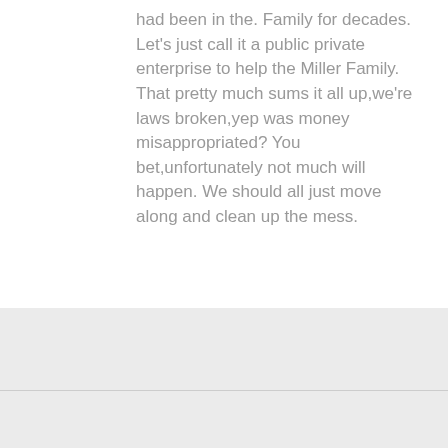had been in the. Family for decades. Let's just call it a public private enterprise to help the Miller Family. That pretty much sums it all up,we're laws broken,yep was money misappropriated? You bet,unfortunately not much will happen. We should all just move along and clean up the mess.